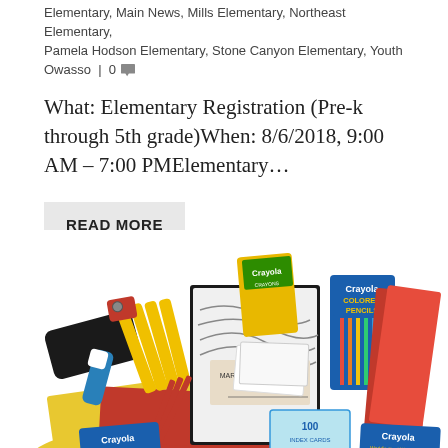Elementary, Main News, Mills Elementary, Northeast Elementary, Pamela Hodson Elementary, Stone Canyon Elementary, Youth Owasso | 0
What: Elementary Registration (Pre-k through 5th grade)When: 8/6/2018, 9:00 AM – 7:00 PMElementary...
READ MORE
[Figure (photo): A pile of school supplies including composition notebooks, Crayola crayons, colored pencils, folders, pencils, index cards, and other back-to-school items arranged in a heap on a white background.]